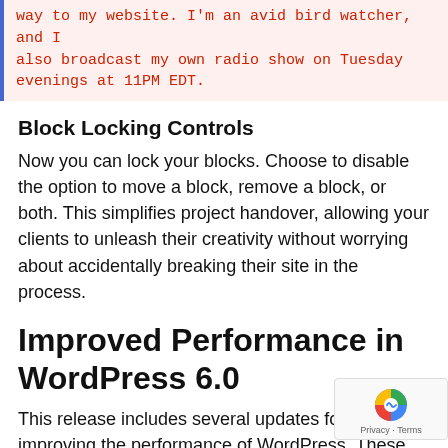[Figure (screenshot): Code block showing red monospace text on pink background with blue left border: 'way to my website. I'm an avid bird watcher, and I also broadcast my own radio show on Tuesday evenings at 11PM EDT.']
Block Locking Controls
Now you can lock your blocks. Choose to disable the option to move a block, remove a block, or both. This simplifies project handover, allowing your clients to unleash their creativity without worrying about accidentally breaking their site in the process.
Improved Performance in WordPress 6.0
This release includes several updates focused on improving the performance of WordPress. These enhancements cover a range of performance areas including improving the page and post-load speed, reducing the execution time of various query types, caching, navigation menus, and much more. The